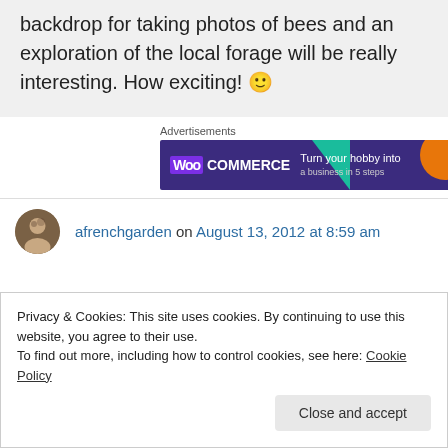backdrop for taking photos of bees and an exploration of the local forage will be really interesting. How exciting! 🙂
Advertisements
[Figure (screenshot): WooCommerce advertisement banner with text 'Turn your hobby into a business in 5 steps']
afrenchgarden on August 13, 2012 at 8:59 am
Privacy & Cookies: This site uses cookies. By continuing to use this website, you agree to their use.
To find out more, including how to control cookies, see here: Cookie Policy
Close and accept
happens if you start reading photographic